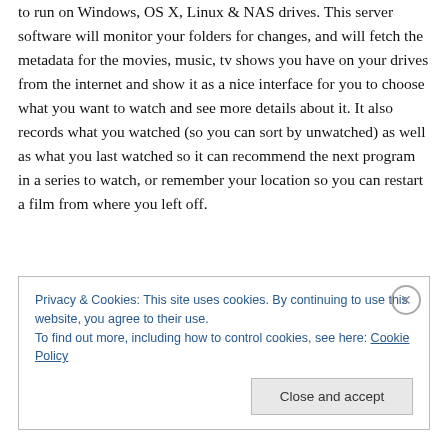What's really cool is you can set the Plex server software to run on Windows, OS X, Linux & NAS drives. This server software will monitor your folders for changes, and will fetch the metadata for the movies, music, tv shows you have on your drives from the internet and show it as a nice interface for you to choose what you want to watch and see more details about it. It also records what you watched (so you can sort by unwatched) as well as what you last watched so it can recommend the next program in a series to watch, or remember your location so you can restart a film from where you left off.
Privacy & Cookies: This site uses cookies. By continuing to use this website, you agree to their use.
To find out more, including how to control cookies, see here: Cookie Policy